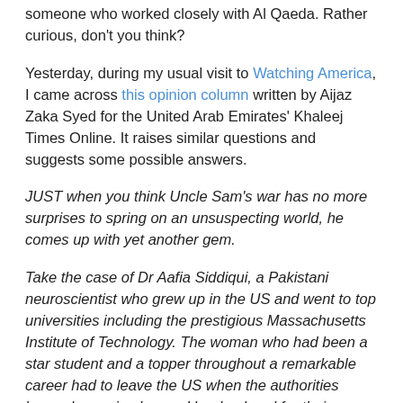someone who worked closely with Al Qaeda. Rather curious, don't you think?
Yesterday, during my usual visit to Watching America, I came across this opinion column written by Aijaz Zaka Syed for the United Arab Emirates' Khaleej Times Online. It raises similar questions and suggests some possible answers.
JUST when you think Uncle Sam's war has no more surprises to spring on an unsuspecting world, he comes up with yet another gem.
Take the case of Dr Aafia Siddiqui, a Pakistani neuroscientist who grew up in the US and went to top universities including the prestigious Massachusetts Institute of Technology. The woman who had been a star student and a topper throughout a remarkable career had to leave the US when the authorities began harassing her and her husband for their charity activities in the wake of September 11 upheavals.
The family settled down in Karachi and was never involved